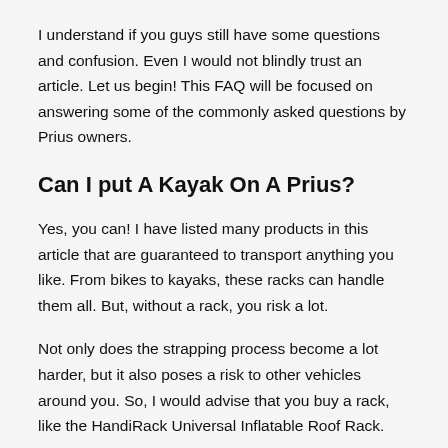I understand if you guys still have some questions and confusion. Even I would not blindly trust an article. Let us begin! This FAQ will be focused on answering some of the commonly asked questions by Prius owners.
Can I put A Kayak On A Prius?
Yes, you can! I have listed many products in this article that are guaranteed to transport anything you like. From bikes to kayaks, these racks can handle them all. But, without a rack, you risk a lot.
Not only does the strapping process become a lot harder, but it also poses a risk to other vehicles around you. So, I would advise that you buy a rack, like the HandiRack Universal Inflatable Roof Rack.